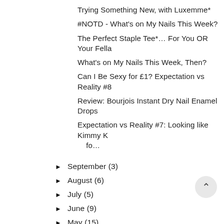Trying Something New, with Luxemme*
#NOTD - What's on My Nails This Week?
The Perfect Staple Tee*… For You OR Your Fella
What's on My Nails This Week, Then?
Can I Be Sexy for £1? Expectation vs Reality #8
Review: Bourjois Instant Dry Nail Enamel Drops
Expectation vs Reality #7: Looking like Kimmy K fo…
► September (3)
► August (6)
► July (5)
► June (9)
► May (15)
► April (13)
► March (10)